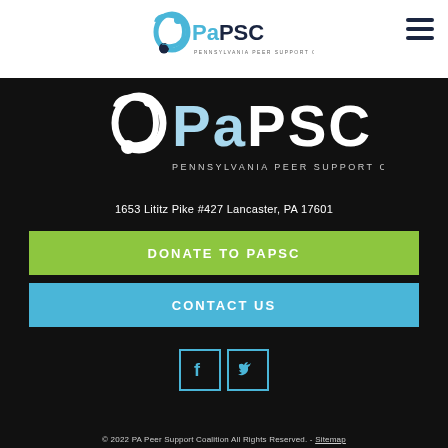[Figure (logo): PaPSC Pennsylvania Peer Support Coalition logo in header bar]
[Figure (logo): PaPSC Pennsylvania Peer Support Coalition white logo on dark background]
1653 Lititz Pike #427 Lancaster, PA 17601
DONATE TO PAPSC
CONTACT US
[Figure (other): Facebook and Twitter social media icon buttons]
© 2022 PA Peer Support Coalition All Rights Reserved. - Sitemap